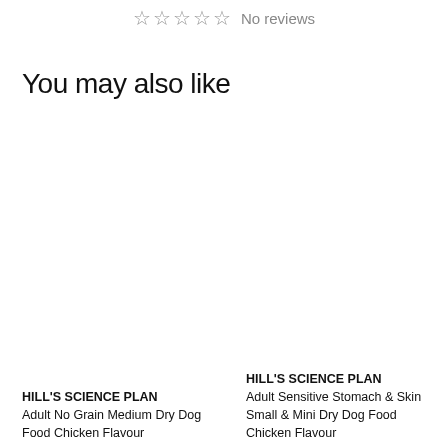☆ ☆ ☆ ☆ ☆ No reviews
You may also like
HILL'S SCIENCE PLAN Adult No Grain Medium Dry Dog Food Chicken Flavour
HILL'S SCIENCE PLAN Adult Sensitive Stomach & Skin Small & Mini Dry Dog Food Chicken Flavour